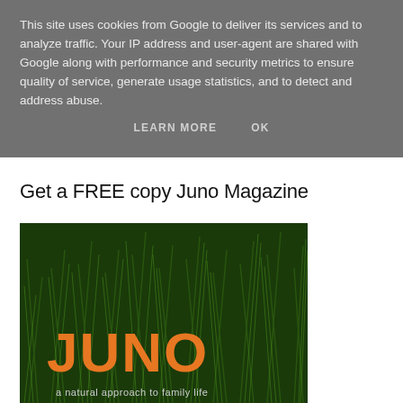This site uses cookies from Google to deliver its services and to analyze traffic. Your IP address and user-agent are shared with Google along with performance and security metrics to ensure quality of service, generate usage statistics, and to detect and address abuse.
LEARN MORE   OK
Get a FREE copy Juno Magazine
[Figure (photo): Magazine cover for Juno magazine showing green grass background with large orange JUNO logo text and tagline 'a natural approach to family life']